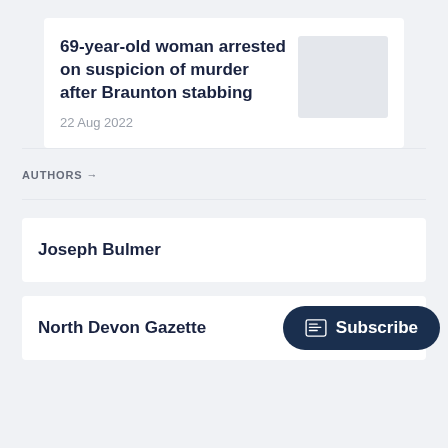69-year-old woman arrested on suspicion of murder after Braunton stabbing
22 Aug 2022
AUTHORS →
Joseph Bulmer
North Devon Gazette